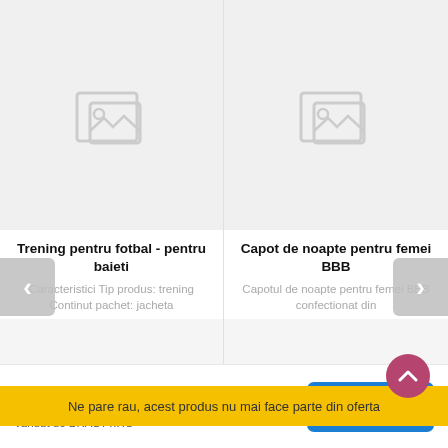[Figure (photo): Product image placeholder (no image) for Trening pentru fotbal - pentru baieti]
[Figure (photo): Product image placeholder (no image) for Capot de noapte pentru femei BBB]
Trening pentru fotbal - pentru baieti
Capot de noapte pentru femei BBB
Caracteristici Tip produs: trening Continut pachet: jacheta
Capotul de noapte pentru femei BBB confectionat din
Ne pare rau, acest produs nu mai face parte din oferta
500,00 Lei
Vandut de BRASTY.RO